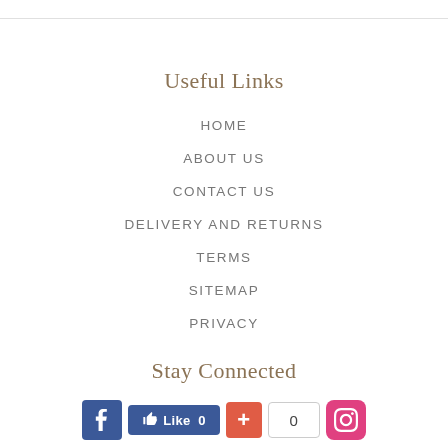Useful Links
HOME
ABOUT US
CONTACT US
DELIVERY AND RETURNS
TERMS
SITEMAP
PRIVACY
Stay Connected
[Figure (infographic): Social media icons row: Facebook icon, Like 0 button, Google+1 button with count 0, Instagram icon]